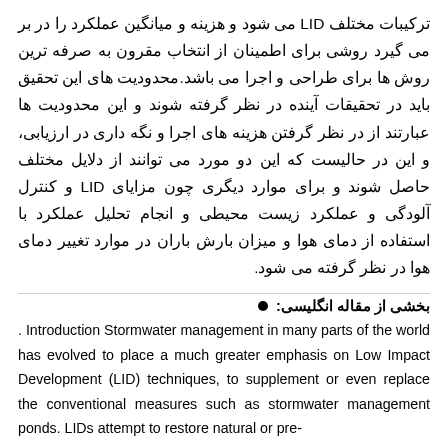ترکیبات مختلف LID می شود و هزینه و میانگین عملکرد را در بر می گیرد روشی برای اطمینان از انتخاب مقرون به صرفه ترین روش ها برای طراحی و اجرا می باشد.محدودیت های این تحقیق باید در تحقیقات آینده در نظر گرفته شوند و این محدودیت ها عبارتند از در نظر گرفتن هزینه های اجرا و نگه داری در ارزیابی، و این در حالیست که این دو مورد می توانند از دلایل مختلف حاصل شوند و برای موارد دیگری چون مزایای LID و کنترل آلودگی و عملکرد زیست محیطی و انجام تحلیل عملکرد با استفاده از دمای هوا و میزان بارش باران در موارد تغییر دمای هوا در نظر گرفته می شود.
بخشی از مقاله انگلیسی:
. Introduction Stormwater management in many parts of the world has evolved to place a much greater emphasis on Low Impact Development (LID) techniques, to supplement or even replace the conventional measures such as stormwater management ponds. LIDs attempt to restore natural or pre-